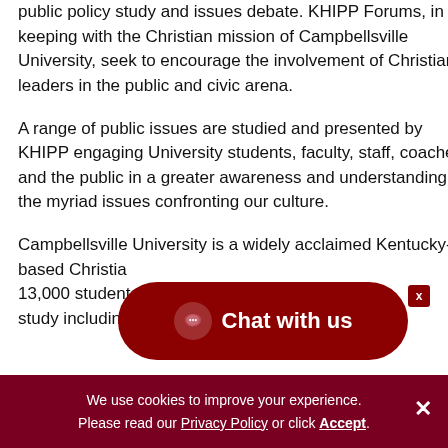public policy study and issues debate. KHIPP Forums, in keeping with the Christian mission of Campbellsville University, seek to encourage the involvement of Christian leaders in the public and civic arena.
A range of public issues are studied and presented by KHIPP engaging University students, faculty, staff, coaches and the public in a greater awareness and understanding of the myriad issues confronting our culture.
Campbellsville University is a widely acclaimed Kentucky-based Christian ... 13,000 students offering ... study including Ph.D., master, baccalaureate...
[Figure (other): Dark red 'Chat with us' button overlay with speech bubble icon and close X button]
We use cookies to improve your experience. Please read our Privacy Policy or click Accept.